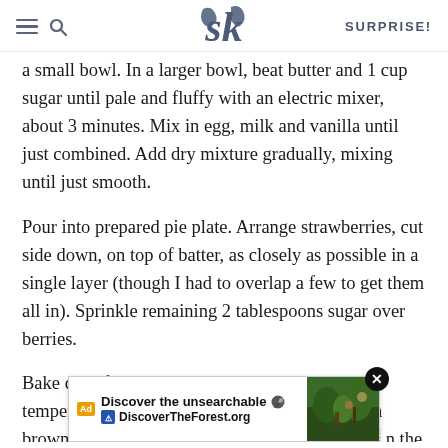SK SURPRISE!
a small bowl. In a larger bowl, beat butter and 1 cup sugar until pale and fluffy with an electric mixer, about 3 minutes. Mix in egg, milk and vanilla until just combined. Add dry mixture gradually, mixing until just smooth.
Pour into prepared pie plate. Arrange strawberries, cut side down, on top of batter, as closely as possible in a single layer (though I had to overlap a few to get them all in). Sprinkle remaining 2 tablespoons sugar over berries.
Bake cake for 10 minutes then reduce oven temperature to 325°F and bake cake until golden brown a[...] about 50 min[...] n the
[Figure (screenshot): Advertisement overlay for DiscoverTheForest.org with text 'Discover the unsearchable' and an image of people in a forest]